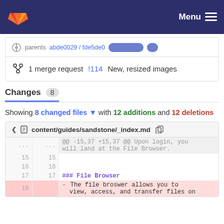GitLab navigation bar with Menu
parents abde0029 / fde5de0 [pill buttons]
1 merge request !114 New, resized images
Changes 8
Showing 8 changed files with 12 additions and 12 deletions
content/guides/sandstone/_index.md
| old ln | new ln | code |
| --- | --- | --- |
| ... | ... | @@ -15,37 +15,37 @@ Upon login, you will land at the File Browser. |
| 15 | 15 |  |
| 16 | 16 |  |
| 17 | 17 | ### File Browser |
| 18 |  | - The file broswer allows you to view, access, and transfer files on |